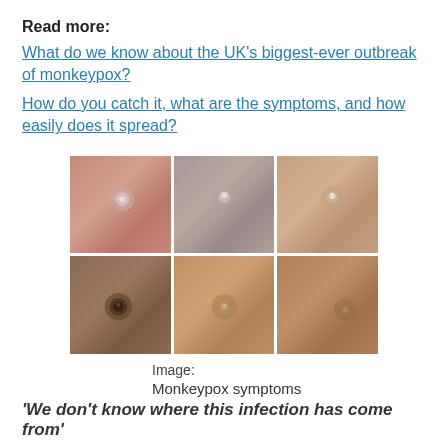Read more:
What do we know about the UK's biggest-ever outbreak of monkeypox?
How do you catch it, what are the symptoms, and how easily does it spread?
[Figure (photo): Six close-up photographs of monkeypox skin lesions arranged in a 3x2 grid, showing pustules/lesions on skin of varying tones from light pinkish to dark brown.]
Image:
Monkeypox symptoms
'We don't know where this infection has come from'